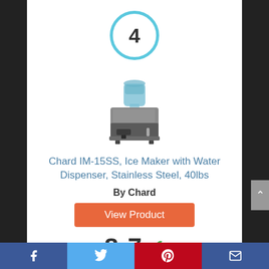[Figure (other): Ranking number 4 inside a light blue circle]
[Figure (photo): Product photo of Chard IM-15SS Ice Maker with Water Dispenser, stainless steel]
Chard IM-15SS, Ice Maker with Water Dispenser, Stainless Steel, 40lbs
By Chard
View Product
8.7
Facebook | Twitter | Pinterest | Email